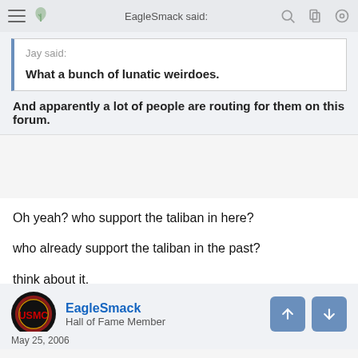EagleSmack said:
Jay said:
What a bunch of lunatic weirdoes.
And apparently a lot of people are routing for them on this forum.
Oh yeah? who support the taliban in here?

who already support the taliban in the past?

think about it.
EagleSmack
Hall of Fame Member
May 25, 2006